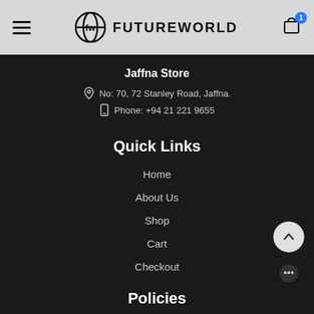FUTUREWORLD
Jaffna Store
No: 70, 72 Stanley Road, Jaffna.
Phone: +94 21 221 9655
Quick Links
Home
About Us
Shop
Cart
Checkout
Policies